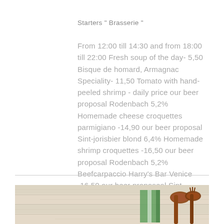Starters " Brasserie "
From 12:00 till 14:30 and from 18:00 till 22:00 Fresh soup of the day- 5,50 Bisque de homard, Armagnac Speciality- 11,50 Tomato with hand-peeled shrimp - daily price our beer proposal Rodenbach 5,2% Homemade cheese croquettes parmigiano -14,90 our beer proposal Sint-jorisbier blond 6,4% Homemade shrimp croquettes -16,50 our beer proposal Rodenbach 5,2% Beefcarpaccio Harry’s Bar Venice -16,50 our beer proposeal Sint-jorisbier bruin 6% Mildly smoked Scottish salmon -16,50 our
[Figure (photo): Photo of wooden spoons and kitchen utensils on a light wood surface with green cloth, viewed from above]